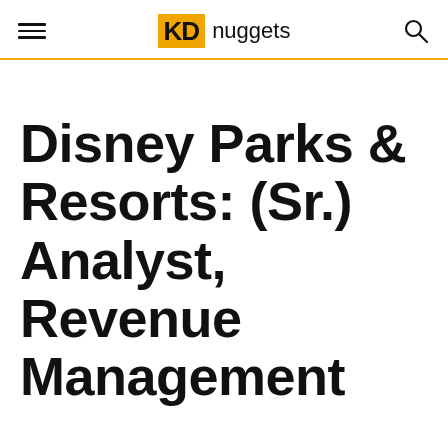KD nuggets
Disney Parks & Resorts: (Sr.) Analyst, Revenue Management